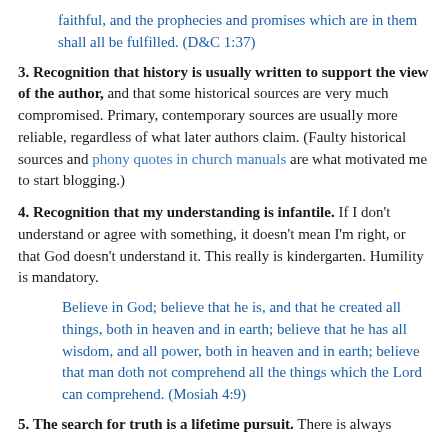faithful, and the prophecies and promises which are in them shall all be fulfilled. (D&C 1:37)
3. Recognition that history is usually written to support the view of the author, and that some historical sources are very much compromised. Primary, contemporary sources are usually more reliable, regardless of what later authors claim. (Faulty historical sources and phony quotes in church manuals are what motivated me to start blogging.)
4. Recognition that my understanding is infantile. If I don’t understand or agree with something, it doesn’t mean I’m right, or that God doesn’t understand it. This really is kindergarten. Humility is mandatory.
Believe in God; believe that he is, and that he created all things, both in heaven and in earth; believe that he has all wisdom, and all power, both in heaven and in earth; believe that man doth not comprehend all the things which the Lord can comprehend. (Mosiah 4:9)
5. The search for truth is a lifetime pursuit. There is always